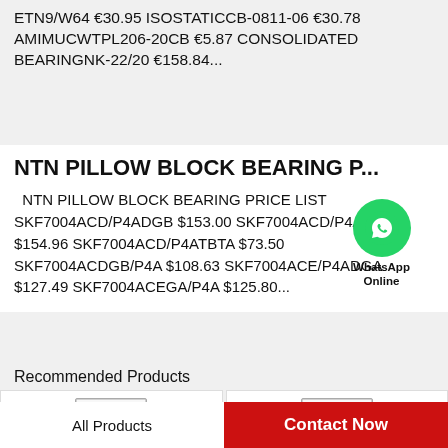ETN9/W64 €30.95 ISOSTATICCB-0811-06 €30.78 AMIMUCWTPL206-20CB €5.87 CONSOLIDATED BEARINGNK-22/20 €158.84...
NTN PILLOW BLOCK BEARING P...
NTN PILLOW BLOCK BEARING PRICE LIST SKF7004ACD/P4ADGB $153.00 SKF7004ACD/P4ADGA $154.96 SKF7004ACD/P4ATBTA $73.50 SKF7004ACDGB/P4A $108.63 SKF7004ACE/P4ADGA $127.49 SKF7004ACEGA/P4A $125.80...
[Figure (logo): WhatsApp contact button - green circle with phone icon and 'WhatsApp Online' label]
Recommended Products
[Figure (photo): Recommended product image left - bearing product]
[Figure (photo): Recommended product image right - bearing product]
All Products
Contact Now